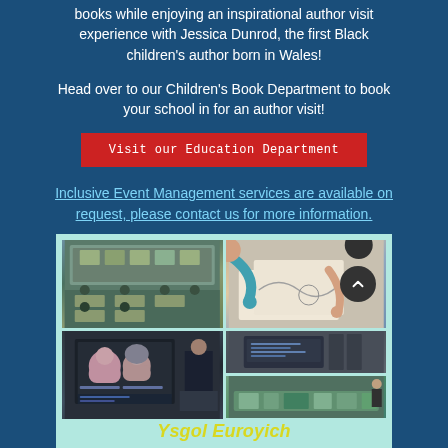books while enjoying an inspirational author visit experience with Jessica Dunrod, the first Black children's author born in Wales!
Head over to our Children's Book Department to book your school in for an author visit!
Visit our Education Department
Inclusive Event Management services are available on request, please contact us for more information.
Learn more about Author visits
[Figure (photo): A photo grid showing four images of school author visit events: a classroom full of students, children drawing, a presenter on a screen, a display board, and a classroom activity table. Below the grid is text reading 'Ysgol Euroyich' in yellow italic letters on a teal background.]